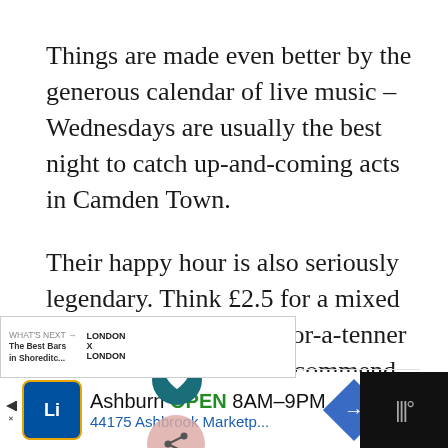Things are made even better by the generous calendar of live music – Wednesdays are usually the best night to catch up-and-coming acts in Camden Town.
Their happy hour is also seriously legendary. Think £2.5 for a mixed spirit or two-cocktails-for-a-tenner legendary – yeah, we recommend dropping by between 4pm and Monday to Thursday.
[Figure (screenshot): UI overlay showing a heart (favourite) button and a share button over the article text, plus a 'What's Next: The Best Bars in Shoreditch...' navigation banner with London X London logo.]
[Figure (screenshot): Advertisement bar at bottom: Lidl store icon, 'Ashburn OPEN 8AM-9PM', '44175 Ashbrook Marketp...' with blue navigation arrow icon and dark panel with microphone icons on right.]